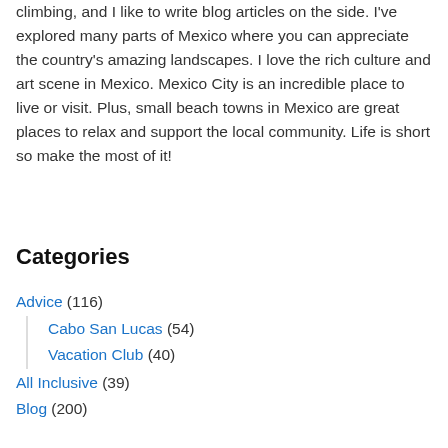climbing, and I like to write blog articles on the side. I've explored many parts of Mexico where you can appreciate the country's amazing landscapes. I love the rich culture and art scene in Mexico. Mexico City is an incredible place to live or visit. Plus, small beach towns in Mexico are great places to relax and support the local community. Life is short so make the most of it!
Categories
Advice (116)
Cabo San Lucas (54)
Vacation Club (40)
All Inclusive (39)
Blog (200)